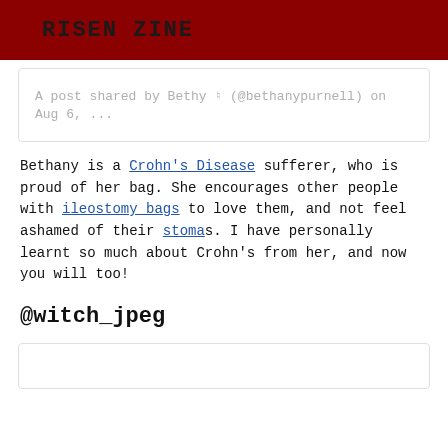RISEN ZINE
A post shared by Bethy ♮ (@bethanypurnell) on Aug 6, ...
Bethany is a Crohn's Disease sufferer, who is proud of her bag. She encourages other people with ileostomy bags to love them, and not feel ashamed of their stomas. I have personally learnt so much about Crohn's from her, and now you will too!
@witch_jpeg